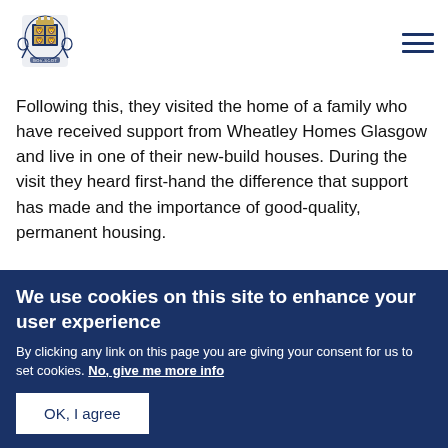[Figure (logo): UK Government coat of arms logo in blue and gold]
Following this, they visited the home of a family who have received support from Wheatley Homes Glasgow and live in one of their new-build houses. During the visit they heard first-hand the difference that support has made and the importance of good-quality, permanent housing.
We use cookies on this site to enhance your user experience
By clicking any link on this page you are giving your consent for us to set cookies. No, give me more info
OK, I agree